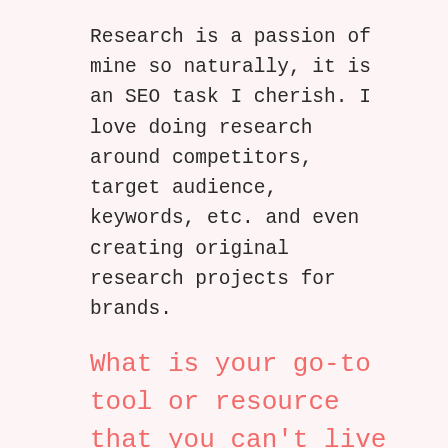Research is a passion of mine so naturally, it is an SEO task I cherish. I love doing research around competitors, target audience, keywords, etc. and even creating original research projects for brands.
What is your go-to tool or resource that you can't live without?
SEO Pro Extension for Chrome is one that gets a ton of use when I need a quick overview of a website. I've also become a bit of a Google Sheets fan over the past year and love the option to